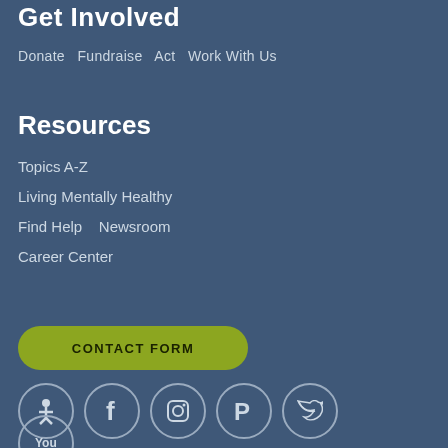Get Involved
Donate  Fundraise  Act  Work With Us
Resources
Topics A-Z
Living Mentally Healthy
Find Help    Newsroom
Career Center
CONTACT FORM
[Figure (infographic): Row of social media icon circles: organization logo, Facebook, Instagram, Pinterest, Twitter; and a partial YouTube icon below]